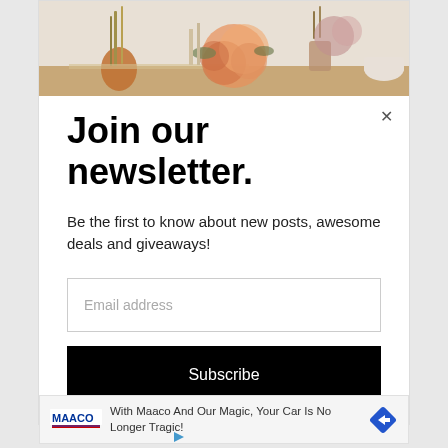[Figure (photo): Decorative photo of flowers and home decor arranged on a table, cropped at top of modal]
Join our newsletter.
Be the first to know about new posts, awesome deals and giveaways!
Email address
Subscribe
[Figure (infographic): Advertisement banner: Maaco logo with text 'With Maaco And Our Magic, Your Car Is No Longer Tragic!' and navigation arrow icon]